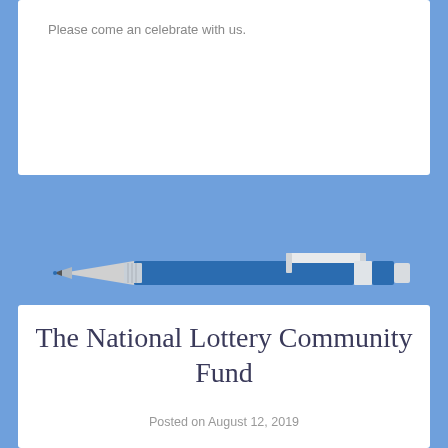Please come an celebrate with us.
[Figure (illustration): Illustration of a mechanical pencil or pen on a blue background]
The National Lottery Community Fund
Posted on August 12, 2019